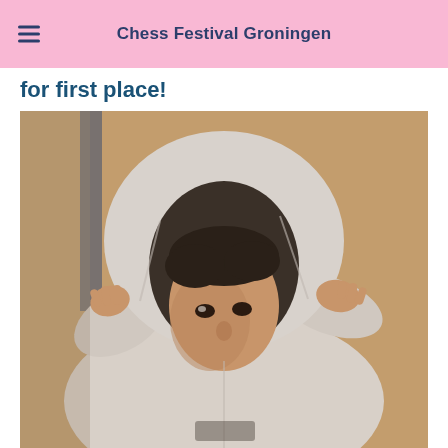Chess Festival Groningen
for first place!
[Figure (photo): A young man wearing a light grey hoodie, pulling the hood up around his face with both hands, looking downward in concentration. The background is blurred warm brown/beige tones. Appears to be taken at a chess tournament.]